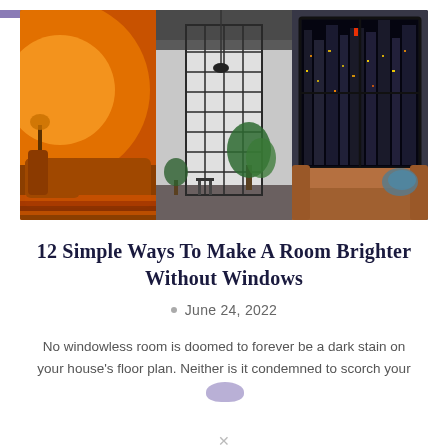[Figure (photo): Three interior design photos side by side: left shows an orange-toned room with circular warm light and a brown sofa with striped rug; center shows a modern space with large grid-frame glass partition and green plants; right shows a dark room with large windows overlooking a city skyline at night and a brown leather sofa.]
12 Simple Ways To Make A Room Brighter Without Windows
June 24, 2022
No windowless room is doomed to forever be a dark stain on your house's floor plan. Neither is it condemned to scorch your